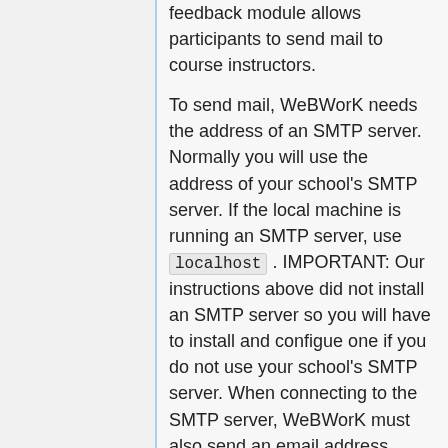feedback module allows participants to send mail to course instructors.
To send mail, WeBWorK needs the address of an SMTP server. Normally you will use the address of your school's SMTP server. If the local machine is running an SMTP server, use localhost . IMPORTANT: Our instructions above did not install an SMTP server so you will have to install and configue one if you do not use your school's SMTP server. When connecting to the SMTP server, WeBWorK must also send an email address representing the sender of the email (this has nothing to do with the From address on the mail message). Edit the lines
$mail{smtpServer}